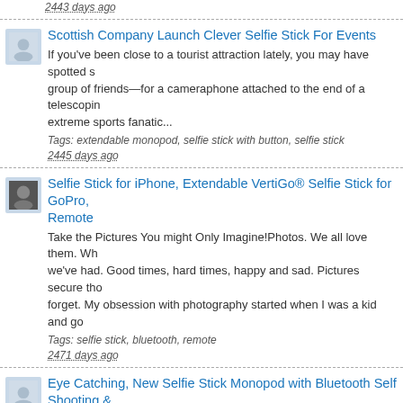2443 days ago
Scottish Company Launch Clever Selfie Stick For Events
If you've been close to a tourist attraction lately, you may have spotted someone—travelling solo or in a group of friends—for a cameraphone attached to the end of a telescoping pole, or maybe you're an extreme sports fanatic...
Tags: extendable monopod, selfie stick with button, selfie stick
2445 days ago
Selfie Stick for iPhone, Extendable VertiGo&reg; Selfie Stick for GoPro, Remote
Take the Pictures You might Only Imagine!Photos. We all love them. We all love the memories we've had. Good times, hard times, happy and sad. Pictures secure those moments we don't want to forget. My obsession with photography started when I was a kid and go
Tags: selfie stick, bluetooth, remote
2471 days ago
Eye Catching, New Selfie Stick Monopod with Bluetooth Self Shooting &
Over a million selfies are taken each day and according to Samsung, selfie lovers are mostly amongst the ages of 18 and 24.What if you have a extended stick that e so you don't need to have to squash collectively to get eve...
Tags: Fun, Selfie Stick, Holidays
2478 days ago
Rugged Selfie Stick Awesome For Your Next Travel Journey. Start Capt
I found this really amazing selfie stick on Amazon, and it is absolutely fa